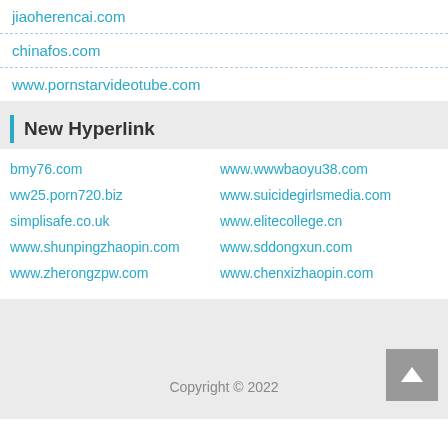jiaoherencai.com
chinafos.com
www.pornstarvideotube.com
New Hyperlink
bmy76.com   www.wwwbaoyu38.com
ww25.porn720.biz   www.suicidegirlsmedia.com
simplisafe.co.uk   www.elitecollege.cn
www.shunpingzhaopin.com   www.sddongxun.com
www.zherongzpw.com   www.chenxizhaopin.com
Copyright © 2022